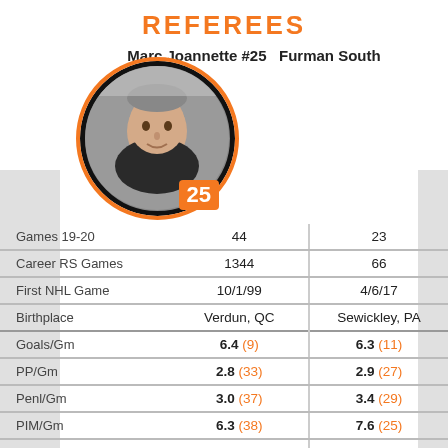REFEREES
Marc Joannette #25  Furman South
[Figure (photo): Circular headshot photo of Marc Joannette, referee #25, with orange/black bordered frame and number badge]
[Figure (photo): Circular headshot photo of referee #44 (Furman South), partially cropped, with orange/black bordered frame and number badge]
|  | Marc Joannette #25 | Furman South #44 |
| --- | --- | --- |
| Games 19-20 | 44 | 23 |
| Career RS Games | 1344 | 66 |
| First NHL Game | 10/1/99 | 4/6/17 |
| Birthplace | Verdun, QC | Sewickley, PA |
| Goals/Gm | 6.4 (9) | 6.3 (11) |
| PP/Gm | 2.8 (33) | 2.9 (27) |
| Penl/Gm | 3.0 (37) | 3.4 (29) |
| PIM/Gm | 6.3 (38) | 7.6 (25) |
| % of Penl on Home | 50.0% (8) | 48.0% (18) |
| More Penl on Rd % | 1.0% (30) | 10.0% (17) |